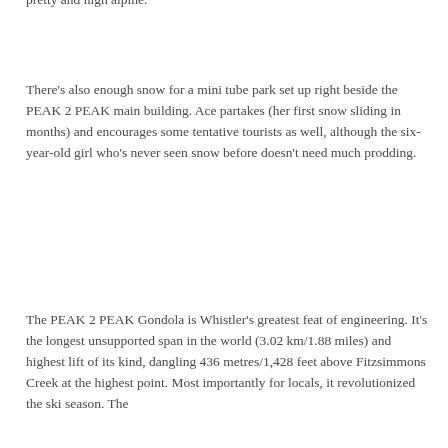pretty and high alpine.
There's also enough snow for a mini tube park set up right beside the PEAK 2 PEAK main building. Ace partakes (her first snow sliding in months) and encourages some tentative tourists as well, although the six-year-old girl who's never seen snow before doesn't need much prodding.
The PEAK 2 PEAK Gondola is Whistler's greatest feat of engineering. It's the longest unsupported span in the world (3.02 km/1.88 miles) and highest lift of its kind, dangling 436 metres/1,428 feet above Fitzsimmons Creek at the highest point. Most importantly for locals, it revolutionized the ski season. The